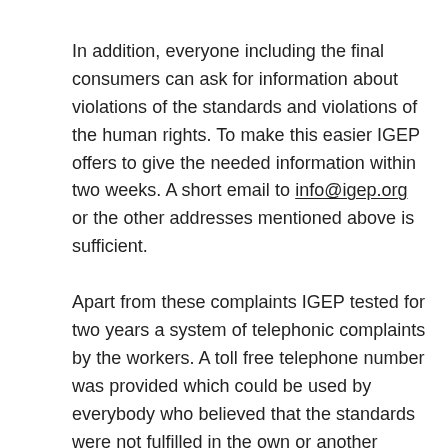In addition, everyone including the final consumers can ask for information about violations of the standards and violations of the human rights. To make this easier IGEP offers to give the needed information within two weeks. A short email to info@igep.org or the other addresses mentioned above is sufficient.
Apart from these complaints IGEP tested for two years a system of telephonic complaints by the workers. A toll free telephone number was provided which could be used by everybody who believed that the standards were not fulfilled in the own or another company. Within this test period many calls were received by workers who in most of the cases complained about the wages or delayed payment. All these cases could be solved then amicably with the